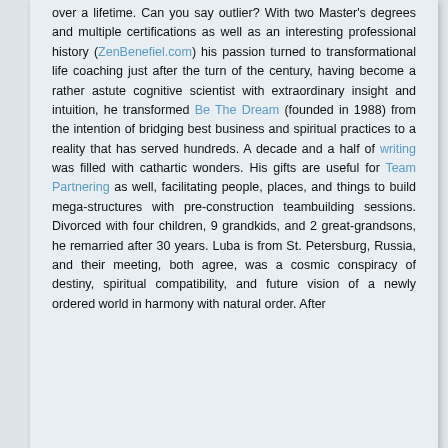over a lifetime. Can you say outlier? With two Master's degrees and multiple certifications as well as an interesting professional history (ZenBenefiel.com) his passion turned to transformational life coaching just after the turn of the century, having become a rather astute cognitive scientist with extraordinary insight and intuition, he transformed Be The Dream (founded in 1988) from the intention of bridging best business and spiritual practices to a reality that has served hundreds. A decade and a half of writing was filled with cathartic wonders. His gifts are useful for Team Partnering as well, facilitating people, places, and things to build mega-structures with pre-construction teambuilding sessions. Divorced with four children, 9 grandkids, and 2 great-grandsons, he remarried after 30 years. Luba is from St. Petersburg, Russia, and their meeting, both agree, was a cosmic conspiracy of destiny, spiritual compatibility, and future vision of a newly ordered world in harmony with natural order. After